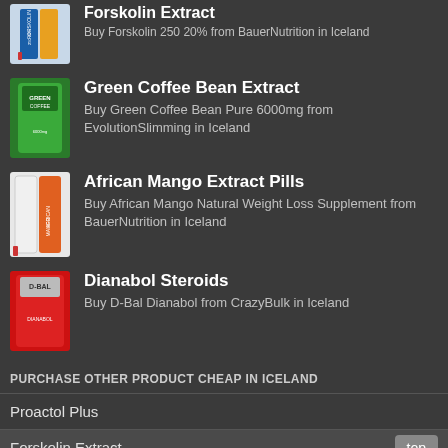[Figure (photo): Forskolin 250 20% supplement bottle product image]
Forskolin Extract
Buy Forskolin 250 20% from BauerNutrition in Iceland
[Figure (photo): Green Coffee Bean Pure supplement bottle product image]
Green Coffee Bean Extract
Buy Green Coffee Bean Pure 6000mg from EvolutionSlimming in Iceland
[Figure (photo): African Mango supplement bottle product image]
African Mango Extract Pills
Buy African Mango Natural Weight Loss Supplement from BauerNutrition in Iceland
[Figure (photo): D-Bal Dianabol supplement tub product image]
Dianabol Steroids
Buy D-Bal Dianabol from CrazyBulk in Iceland
PURCHASE OTHER PRODUCT CHEAP IN ICELAND
Proactol Plus
Forskolin Extract
Green Coffee Bean Extract